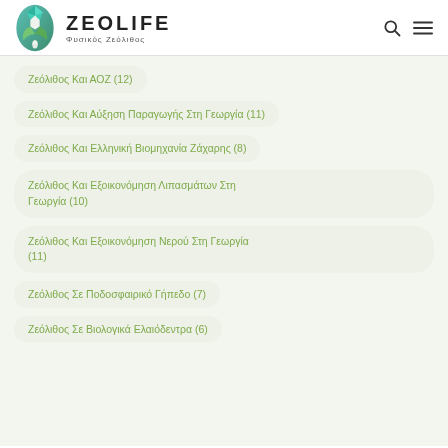[Figure (logo): Zeolife logo: oval shape with geometric gem/leaf design in teal and green gradients, with a water droplet at bottom]
ZEOLIFE
Φυσικός Ζεόλιθος
Ζεόλιθος Και ΑΟΖ (12)
Ζεόλιθος Και Αύξηση Παραγωγής Στη Γεωργία (11)
Ζεόλιθος Και Ελληνική Βιομηχανία Ζάχαρης (8)
Ζεόλιθος Και Εξοικονόμηση Λιπασμάτων Στη Γεωργία (10)
Ζεόλιθος Και Εξοικονόμηση Νερού Στη Γεωργία (11)
Ζεόλιθος Σε Ποδοσφαιρικό Γήπεδο (7)
Ζεόλιθος Σε Βιολογικά Ελαιόδεντρα (6)